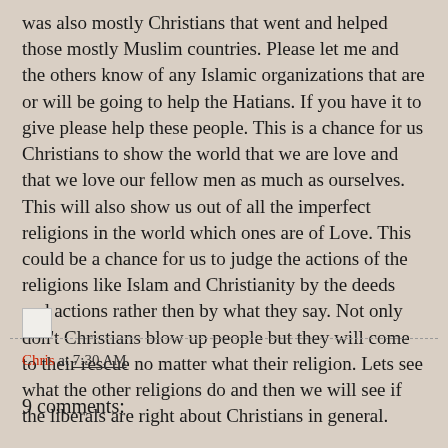was also mostly Christians that went and helped those mostly Muslim countries. Please let me and the others know of any Islamic organizations that are or will be going to help the Hatians. If you have it to give please help these people. This is a chance for us Christians to show the world that we are love and that we love our fellow men as much as ourselves. This will also show us out of all the imperfect religions in the world which ones are of Love. This could be a chance for us to judge the actions of the religions like Islam and Christianity by the deeds and actions rather then by what they say. Not only don't Christians blow up people but they will come to their rescue no matter what their religion. Lets see what the other religions do and then we will see if the liberals are right about Christians in general.
Chris at 7:30 AM
9 comments: